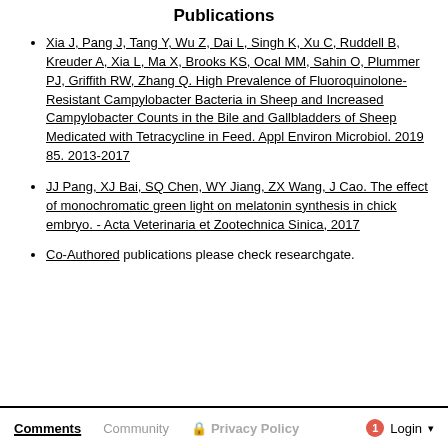Publications
Xia J, Pang J, Tang Y, Wu Z, Dai L, Singh K, Xu C, Ruddell B, Kreuder A, Xia L, Ma X, Brooks KS, Ocal MM, Sahin O, Plummer PJ, Griffith RW, Zhang Q. High Prevalence of Fluoroquinolone-Resistant Campylobacter Bacteria in Sheep and Increased Campylobacter Counts in the Bile and Gallbladders of Sheep Medicated with Tetracycline in Feed. Appl Environ Microbiol. 2019 85. 2013-2017
JJ Pang, XJ Bai, SQ Chen, WY Jiang, ZX Wang, J Cao. The effect of monochromatic green light on melatonin synthesis in chick embryo. - Acta Veterinaria et Zootechnica Sinica, 2017
Co-Authored publications please check researchgate.
Comments  Community  Privacy Policy  Login